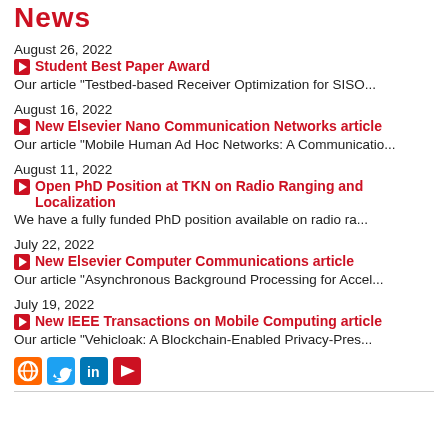News
August 26, 2022
Student Best Paper Award
Our article "Testbed-based Receiver Optimization for SISO...
August 16, 2022
New Elsevier Nano Communication Networks article
Our article "Mobile Human Ad Hoc Networks: A Communicatio...
August 11, 2022
Open PhD Position at TKN on Radio Ranging and Localization
We have a fully funded PhD position available on radio ra...
July 22, 2022
New Elsevier Computer Communications article
Our article "Asynchronous Background Processing for Accel...
July 19, 2022
New IEEE Transactions on Mobile Computing article
Our article "Vehicloak: A Blockchain-Enabled Privacy-Pres...